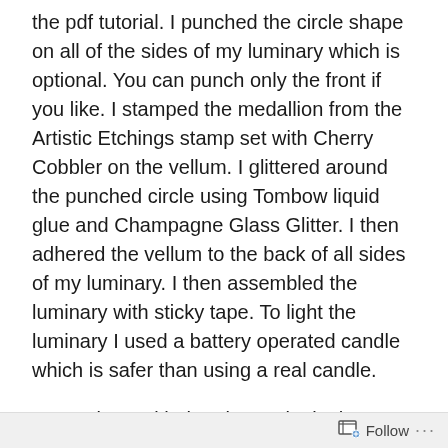the pdf tutorial.  I punched the circle shape on all of the sides of my luminary which is optional.  You can punch only the front if you like.  I stamped the medallion from the Artistic Etchings stamp set with Cherry Cobbler on the vellum.  I glittered around the punched circle using Tombow liquid glue and Champagne Glass Glitter.  I then adhered the vellum to the back of all sides of my luminary.  I then assembled the luminary with sticky tape.  To light the luminary I used a battery operated candle which is safer than using a real candle.
To continue with the elegant look I heat embossed with gold the poinsettia image from the Bells & Boughs stamp set on the the invitation and the candle.  I also gold embossed the ‘You’re Invited’.  The candle stamping is
Follow ···